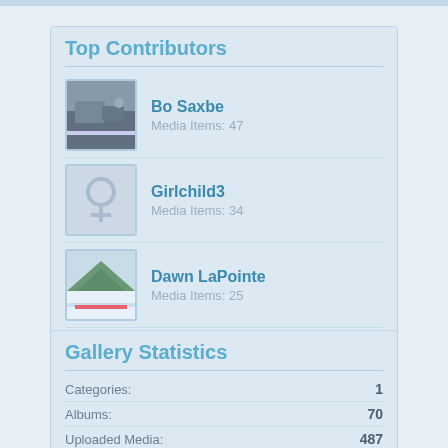Top Contributors
Bo Saxbe
Media Items: 47
Girlchild3
Media Items: 34
Dawn LaPointe
Media Items: 25
Moseley's Ballroom
Media Items: 25
Some Broken Ribs
Media Items: 21
Gallery Statistics
|  |  |
| --- | --- |
| Categories: | 1 |
| Albums: | 70 |
| Uploaded Media: | 487 |
| Embedded Media: | 6 |
| Comments: | 18 |